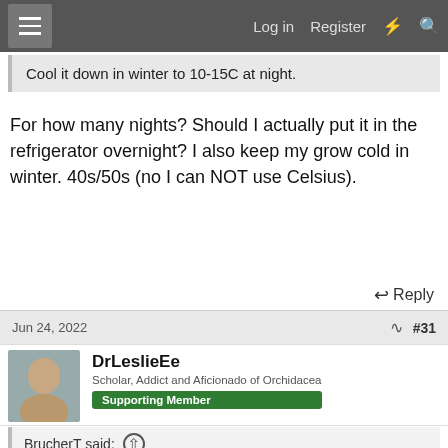Log in   Register
Cool it down in winter to 10-15C at night.
For how many nights? Should I actually put it in the refrigerator overnight? I also keep my grow cold in winter. 40s/50s (no I can NOT use Celsius).
Reply
Jun 24, 2022   #31
DrLeslieEe
Scholar, Addict and Aficionado of Orchidacea
Supporting Member
BrucherT said: